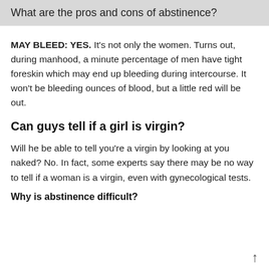What are the pros and cons of abstinence?
MAY BLEED: YES. It's not only the women. Turns out, during manhood, a minute percentage of men have tight foreskin which may end up bleeding during intercourse. It won't be bleeding ounces of blood, but a little red will be out.
Can guys tell if a girl is virgin?
Will he be able to tell you're a virgin by looking at you naked? No. In fact, some experts say there may be no way to tell if a woman is a virgin, even with gynecological tests.
Why is abstinence difficult?